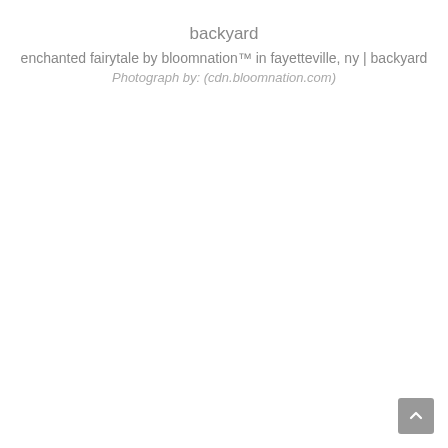backyard
enchanted fairytale by bloomnation™ in fayetteville, ny | backyard
Photograph by: (cdn.bloomnation.com)